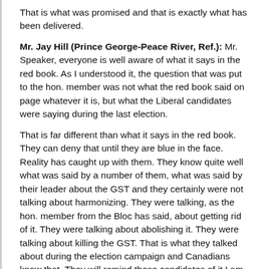That is what was promised and that is exactly what has been delivered.
Mr. Jay Hill (Prince George-Peace River, Ref.): Mr. Speaker, everyone is well aware of what it says in the red book. As I understood it, the question that was put to the hon. member was not what the red book said on page whatever it is, but what the Liberal candidates were saying during the last election.
That is far different than what it says in the red book. They can deny that until they are blue in the face. Reality has caught up with them. They know quite well what was said by a number of them, what was said by their leader about the GST and they certainly were not talking about harmonizing. They were talking, as the hon. member from the Bloc has said, about getting rid of it. They were talking about abolishing it. They were talking about killing the GST. That is what they talked about during the election campaign and Canadians know that. They will remind these candidates of it I am sure in the next election.
What I found particularly interesting about the hon. member's